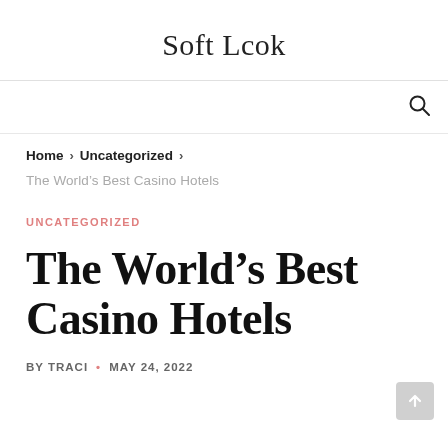Soft Lcok
Home > Uncategorized >
The World's Best Casino Hotels
UNCATEGORIZED
The World's Best Casino Hotels
BY TRACI • MAY 24, 2022